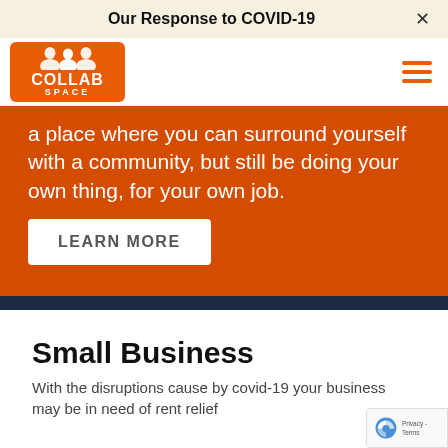Our Response to COVID-19 ×
[Figure (logo): Collab Space logo — orange rounded rectangle with three human silhouettes above the text COLLAB SPACE in white]
a place where you can surround yourself with a community, but still be doing your own thing, for your own job.
LEARN MORE
Small Business
With the disruptions cause by covid-19 your business may be in need of rent relief